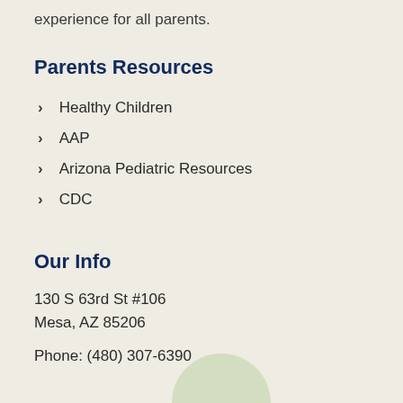experience for all parents.
Parents Resources
Healthy Children
AAP
Arizona Pediatric Resources
CDC
Our Info
130 S 63rd St #106
Mesa, AZ 85206
Phone: (480) 307-6390